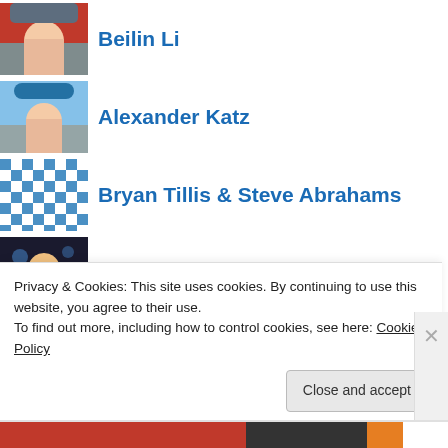Beilin Li
Alexander Katz
Bryan Tillis & Steve Abrahams
Warren Wang
Nathan Holzmueller
Daniel Guel
Dan Schultz
David Brodsky
Privacy & Cookies: This site uses cookies. By continuing to use this website, you agree to their use.
To find out more, including how to control cookies, see here: Cookie Policy
Close and accept